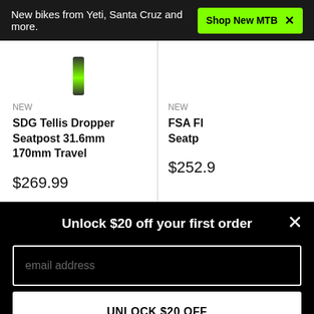New bikes from Yeti, Santa Cruz and more.
Shop New MTB ✕
NEW
SDG Tellis Dropper Seatpost 31.6mm 170mm Travel
$269.99
NEW
FSA Fl... Seatp...
$252.9...
Unlock $20 off your first order
email address
UNLOCK $20 OFF
*Valid for one-time use on new accounts